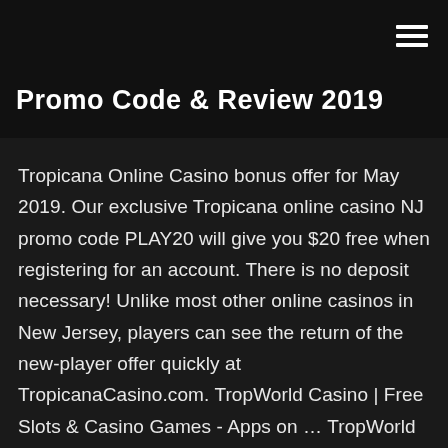Promo Code & Review 2019
Tropicana Online Casino bonus offer for May 2019. Our exclusive Tropicana online casino NJ promo code PLAY20 will give you $20 free when registering for an account. There is no deposit necessary! Unlike most other online casinos in New Jersey, players can see the return of the new-player offer quickly at TropicanaCasino.com. TropWorld Casino | Free Slots & Casino Games - Apps on ... TropWorld Casino – The Promise of MORE with Eldorado Resorts - MORE Big Wins, Blackjacks, Bonuses, and Bingos! Spin to win on your favorite real casino slots for your chance at a progressive jackpot! Enjoy over 40 top slots titles including hits from KONAMI - featuring China Shores™, Lotus Land™ and Gyspy Fire™! TropWorld features MORE casino favorites